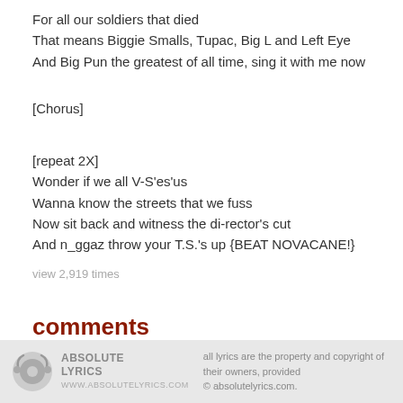For all our soldiers that died
That means Biggie Smalls, Tupac, Big L and Left Eye
And Big Pun the greatest of all time, sing it with me now
[Chorus]
[repeat 2X]
Wonder if we all V-S'es'us
Wanna know the streets that we fuss
Now sit back and witness the di-rector's cut
And n_ggaz throw your T.S.'s up {BEAT NOVACANE!}
view 2,919 times
comments
all lyrics are the property and copyright of their owners, provided © absolutelyrics.com.